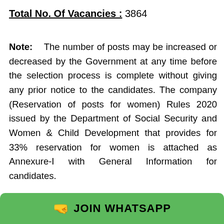Total No. Of Vacancies :  3864
Note:    The number of posts may be increased or decreased by the Government at any time before the selection process is complete without giving any prior notice to the candidates. The company (Reservation of posts for women) Rules 2020 issued by the Department of Social Security and Women & Child Development that provides for 33% reservation for women is attached as Annexure-I with General Information for candidates.
JOIN WHATSAPP